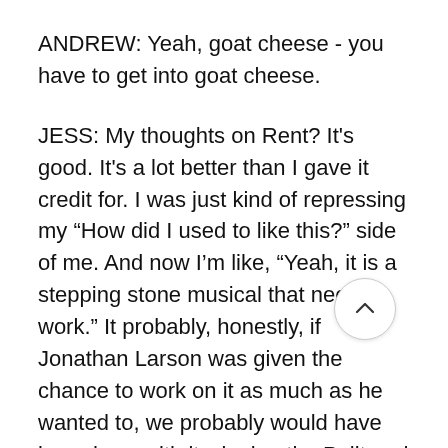ANDREW: Yeah, goat cheese - you have to get into goat cheese.
JESS: My thoughts on Rent? It's good. It's a lot better than I gave it credit for. I was just kind of repressing my “How did I used to like this?” side of me. And now I’m like, “Yeah, it is a stepping stone musical that needs work.” It probably, honestly, if Jonathan Larson was given the chance to work on it as much as he wanted to, we probably would have been here with it winning the Pulit and all that. I still think all of that would have happened. I am gonna alter my beliefs back then. I think no matter what Rent was meant to be as important as it was, no matter what, it was gonna reach